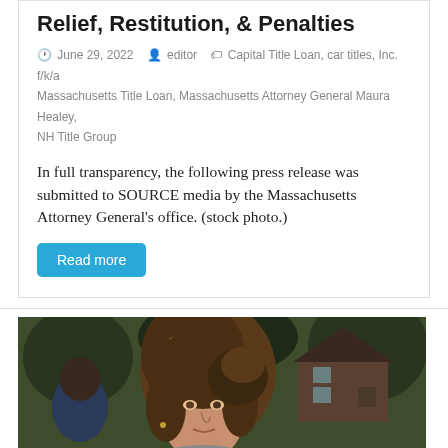Relief, Restitution, & Penalties
June 29, 2022   editor   Capital Title Loan, car titles, Inc. f/k/a Massachusetts Title Loan, Massachusetts Attorney General Maura Healey, NH Title Group
In full transparency, the following press release was submitted to SOURCE media by the Massachusetts Attorney General's office. (stock photo.)
Read more
[Figure (photo): Outdoor photo of a woman with brown and blonde highlighted hair, with a house and trees visible in the background. Appears to be Massachusetts Attorney General Maura Healey.]